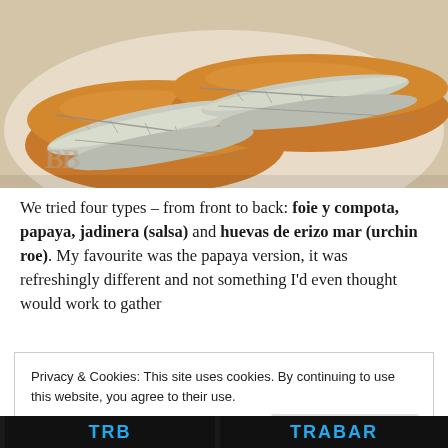[Figure (photo): Close-up photo of bread rolls (bocadillos) filled with sardines/anchovies on a white plate, with a watermark 'BB' logo in bottom-left corner]
We tried four types – from front to back: foie y compota, papaya, jadinera (salsa) and huevas de erizo mar (urchin roe). My favourite was the papaya version, it was refreshingly different and not something I'd even thought would work to gather...
Privacy & Cookies: This site uses cookies. By continuing to use this website, you agree to their use.
To find out more, including how to control cookies, see here: Cookie Policy
Close and accept